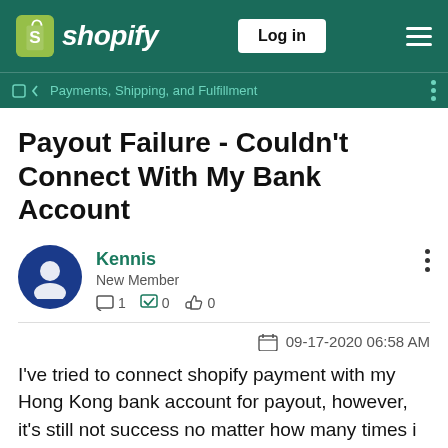Shopify — Log in navigation header
Payments, Shipping, and Fulfillment breadcrumb
Payout Failure - Couldn't Connect With My Bank Account
Kennis
New Member
1  0  0
09-17-2020 06:58 AM
I've tried to connect shopify payment with my Hong Kong bank account for payout, however, it's still not success no matter how many times i tried. I even contacted my bank many times to make sure the bank code and branch